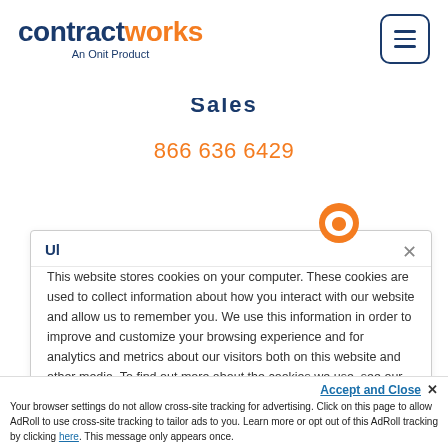[Figure (logo): ContractWorks logo with 'An Onit Product' tagline]
Sales
866 636 6429
Ul
This website stores cookies on your computer. These cookies are used to collect information about how you interact with our website and allow us to remember you. We use this information in order to improve and customize your browsing experience and for analytics and metrics about our visitors both on this website and other media. To find out more about the cookies we use, see our Privacy Policy.
Accept and Close ✕
Your browser settings do not allow cross-site tracking for advertising. Click on this page to allow AdRoll to use cross-site tracking to tailor ads to you. Learn more or opt out of this AdRoll tracking by clicking here. This message only appears once.